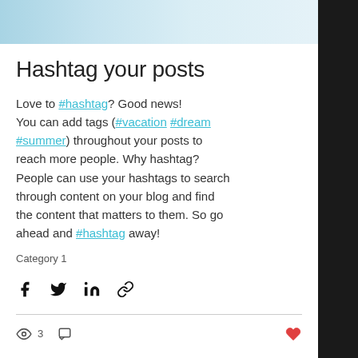[Figure (photo): Top portion of a photo showing light blue and white background, likely a desk scene with glasses or similar items]
Hashtag your posts
Love to #hashtag? Good news! You can add tags (#vacation #dream #summer) throughout your posts to reach more people. Why hashtag? People can use your hashtags to search through content on your blog and find the content that matters to them. So go ahead and #hashtag away!
Category 1
[Figure (infographic): Share icons row: Facebook, Twitter, LinkedIn, Link/chain icon]
[Figure (infographic): Bottom bar with eye/views icon showing 3, comment/chat icon, and heart/like icon in red]